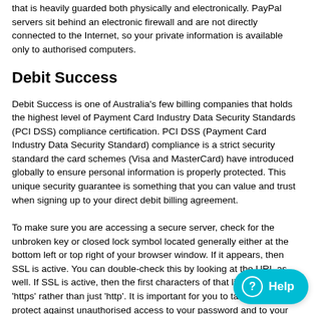that is heavily guarded both physically and electronically. PayPal servers sit behind an electronic firewall and are not directly connected to the Internet, so your private information is available only to authorised computers.
Debit Success
Debit Success is one of Australia's few billing companies that holds the highest level of Payment Card Industry Data Security Standards (PCI DSS) compliance certification. PCI DSS (Payment Card Industry Data Security Standard) compliance is a strict security standard the card schemes (Visa and MasterCard) have introduced globally to ensure personal information is properly protected. This unique security guarantee is something that you can value and trust when signing up to your direct debit billing agreement.
To make sure you are accessing a secure server, check for the unbroken key or closed lock symbol located generally either at the bottom left or top right of your browser window. If it appears, then SSL is active. You can double-check this by looking at the URL as well. If SSL is active, then the first characters of that line will read 'https' rather than just 'http'. It is important for you to take steps to protect against unauthorised access to your password and to your computer. You should ensure you logout when you have finished visiting babybunting.com.au, especially if you access it from a shared computer.